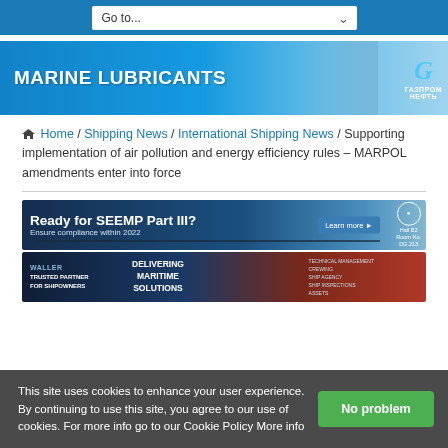Go to...
[Figure (illustration): Marine Lubricants advertisement banner with blue background, worker in hard hat, and Gazprom Neft logo]
Home / Shipping News / International Shipping News / Supporting implementation of air pollution and energy efficiency rules – MARPOL amendments enter into force
[Figure (illustration): Ready for SEEMP Part III? Ensure compliance within 2022. Learn more button. Hall B2 Room No. DG.213]
[Figure (illustration): Waller - Trusted Partner for Shipowners. Delivering Maritime Solutions. Technical Management, Crewing, Ship Agency, Ship Inspections, Assets.]
This site uses cookies to enhance your user experience. By continuing to use this site, you agree to our use of cookies. For more info go to our Cookie Policy More info